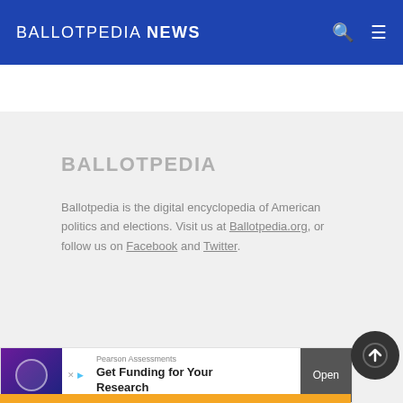BALLOTPEDIA NEWS
BALLOTPEDIA
Ballotpedia is the digital encyclopedia of American politics and elections. Visit us at Ballotpedia.org, or follow us on Facebook and Twitter.
[Figure (screenshot): Search input box with green 'P' button and close X button, followed by Pearson Assessments advertisement banner reading 'Get Funding for Your Research' with Open button]